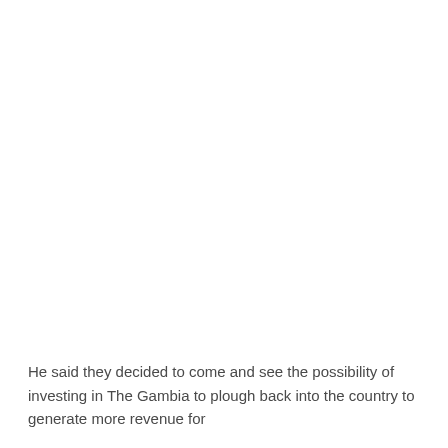He said they decided to come and see the possibility of investing in The Gambia to plough back into the country to generate more revenue for